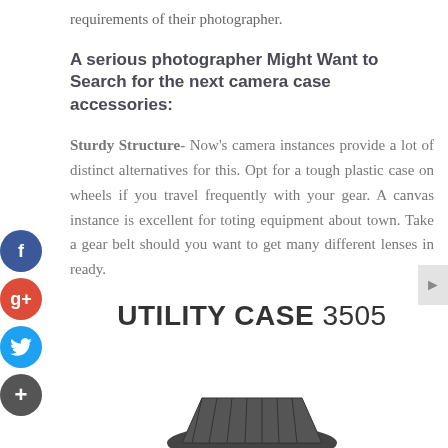requirements of their photographer.
A serious photographer Might Want to Search for the next camera case accessories:
Sturdy Structure- Now's camera instances provide a lot of distinct alternatives for this. Opt for a tough plastic case on wheels if you travel frequently with your gear. A canvas instance is excellent for toting equipment about town. Take a gear belt should you want to get many different lenses in ready.
UTILITY CASE 3505
[Figure (photo): Partial view of a camera case product image at the bottom of the page]